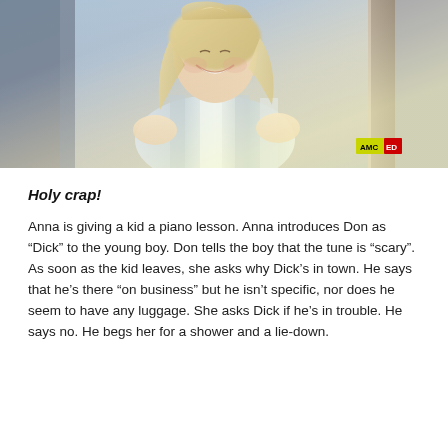[Figure (photo): A smiling blonde woman in a sleeveless blue and white striped top, photographed indoors. An AMC logo badge is visible in the lower right corner of the image.]
Holy crap!
Anna is giving a kid a piano lesson. Anna introduces Don as “Dick” to the young boy. Don tells the boy that the tune is “scary”. As soon as the kid leaves, she asks why Dick’s in town. He says that he’s there “on business” but he isn’t specific, nor does he seem to have any luggage. She asks Dick if he’s in trouble. He says no. He begs her for a shower and a lie-down.